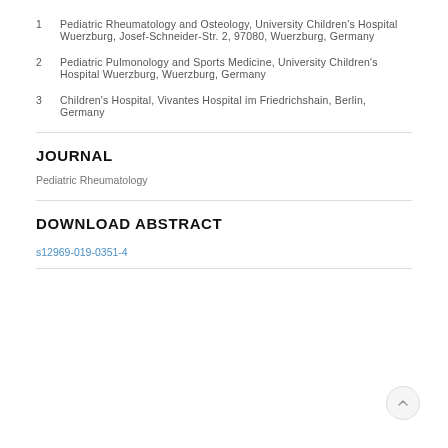1  Pediatric Rheumatology and Osteology, University Children's Hospital Wuerzburg, Josef-Schneider-Str. 2, 97080, Wuerzburg, Germany
2  Pediatric Pulmonology and Sports Medicine, University Children's Hospital Wuerzburg, Wuerzburg, Germany
3  Children's Hospital, Vivantes Hospital im Friedrichshain, Berlin, Germany
JOURNAL
Pediatric Rheumatology
DOWNLOAD ABSTRACT
s12969-019-0351-4